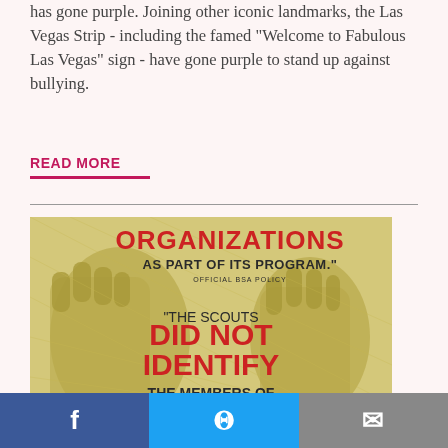has gone purple. Joining other iconic landmarks, the Las Vegas Strip - including the famed "Welcome to Fabulous Las Vegas" sign - have gone purple to stand up against bullying.
READ MORE
[Figure (photo): Anti-bullying or activism poster image showing two hands with text: 'ORGANIZATIONS AS PART OF ITS PROGRAM.' (OFFICIAL BSA POLICY) and '"THE SCOUTS DID NOT IDENTIFY THE MEMBERS OF']
July 20, 2012
by Brendan Davis, Director of Digital Communications
Facebook share | Twitter share | Email share